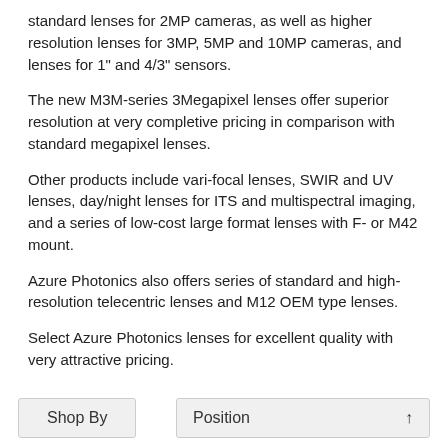standard lenses for 2MP cameras, as well as higher resolution lenses for 3MP, 5MP and 10MP cameras, and lenses for 1" and 4/3" sensors.
The new M3M-series 3Megapixel lenses offer superior resolution at very completive pricing in comparison with standard megapixel lenses.
Other products include vari-focal lenses, SWIR and UV lenses, day/night lenses for ITS and multispectral imaging, and a series of low-cost large format lenses with F- or M42 mount.
Azure Photonics also offers series of standard and high-resolution telecentric lenses and M12 OEM type lenses.
Select Azure Photonics lenses for excellent quality with very attractive pricing.
Mengel Engineering is the Danish distributor of Azure Photonics machine vision lenses. We stock a wide range of the most common lenses for next day delivery.
Shop By
Position